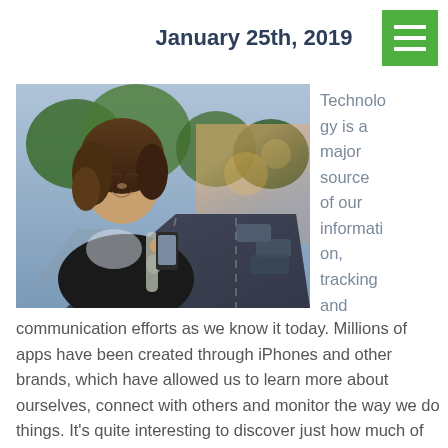January 25th, 2019
[Figure (photo): Young woman with curly hair smiling and looking at her smartphone on a city street with parked cars and trees in the background]
Technology is a major source of our information, tracking and communication efforts as we know it today. Millions of apps have been created through iPhones and other brands, which have allowed us to learn more about ourselves, connect with others and monitor the way we do things. It’s quite interesting to discover just how much of an impact technology has had on our lives